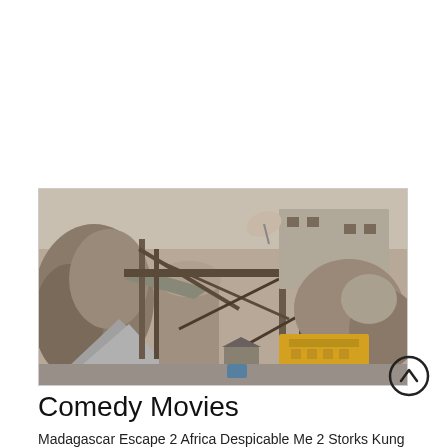[Figure (photo): An outdoor quarry or mining site showing industrial crushing equipment, gravel piles, rocky terrain, wooden scaffolding, and a stone building in the background. Yellow machinery is visible in the lower right.]
Comedy Movies
Madagascar Escape 2 Africa Despicable Me 2 Storks Kung